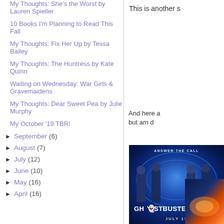My Thoughts: She's the Worst by Lauren Spieller
10 Books I'm Planning to Read This Fall
My Thoughts: Fix Her Up by Tessa Bailey
My Thoughts: The Huntress by Kate Quinn
Waiting on Wednesday: War Girls & Gravemaidens
My Thoughts: Dear Sweet Pea by Julie Murphy
My October '19 TBR!
► September (6)
► August (7)
► July (12)
► June (10)
► May (16)
► April (16)
This is another s
And here a but am d
[Figure (photo): Ghostbusters movie poster - Answer The Call, July 15, showing cast with ghostbusting equipment against blue energy background]
[Figure (photo): Second partially visible movie poster with orange and blue tones]